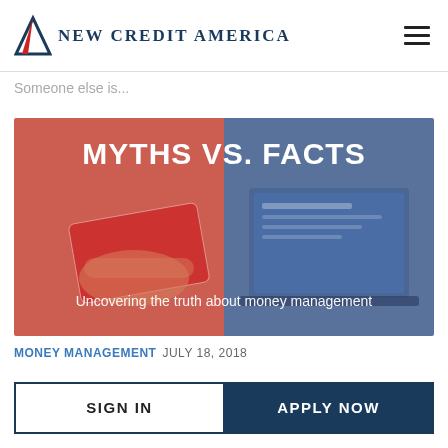New Credit America
Someone else is...
[Figure (illustration): Split image with red-tinted left side showing a hand holding a credit card and blue-tinted right side showing a laptop screen. Bold white text reads 'MYTHS VS. FACTS' at the top and 'Uncovering the truth about money management' at the bottom.]
MONEY MANAGEMENT  JULY 18, 2018
SIGN IN
APPLY NOW